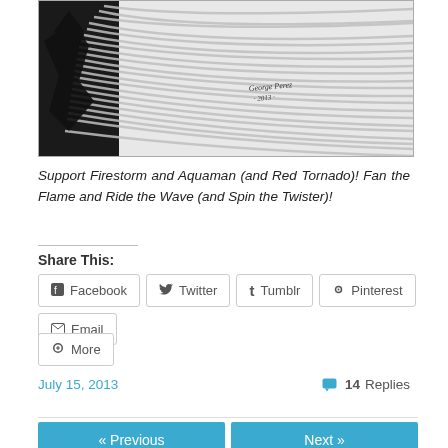[Figure (illustration): Black and white pencil/charcoal artwork showing swirling lines with a dark figure on the left, signed 'George Perez 2013']
Support Firestorm and Aquaman (and Red Tornado)! Fan the Flame and Ride the Wave (and Spin the Twister)!
Share This:
Facebook
Twitter
Tumblr
Pinterest
Email
More
July 15, 2013
14 Replies
« Previous
Next »